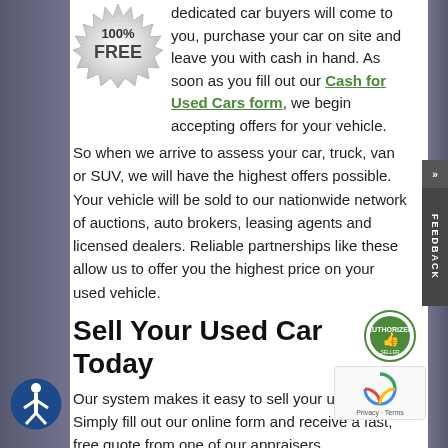[Figure (illustration): 100% FREE badge/seal in silver starburst shape]
dedicated car buyers will come to you, purchase your car on site and leave you with cash in hand. As soon as you fill out our Cash for Used Cars form, we begin accepting offers for your vehicle. So when we arrive to assess your car, truck, van or SUV, we will have the highest offers possible. Your vehicle will be sold to our nationwide network of auctions, auto brokers, leasing agents and licensed dealers. Reliable partnerships like these allow us to offer you the highest price on your used vehicle.
Sell Your Used Car Today
Our system makes it easy to sell your used car. Simply fill out our online form and receive a fast, free quote from one of our appraisers.
Convenience — we come to you to inspect your vehicle
Best Value — we give you a high market evaluation
Guaranteed — we provide a written offer for the best possible price